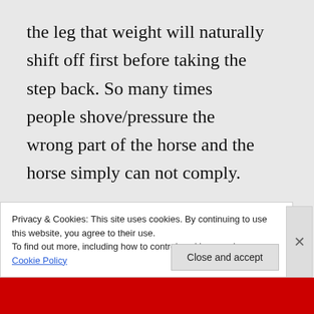the leg that weight will naturally shift off first before taking the step back. So many times people shove/pressure the wrong part of the horse and the horse simply can not comply.
Privacy & Cookies: This site uses cookies. By continuing to use this website, you agree to their use. To find out more, including how to control cookies, see here: Cookie Policy
Close and accept